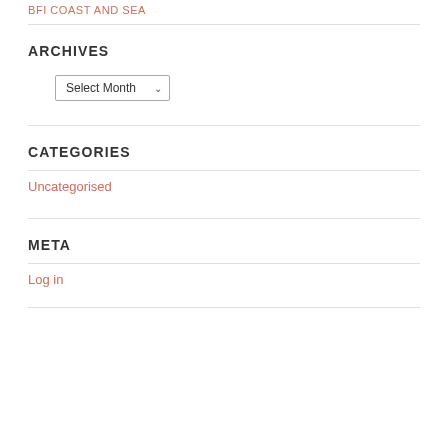BFI COAST AND SEA
ARCHIVES
Select Month
CATEGORIES
Uncategorised
META
Log in